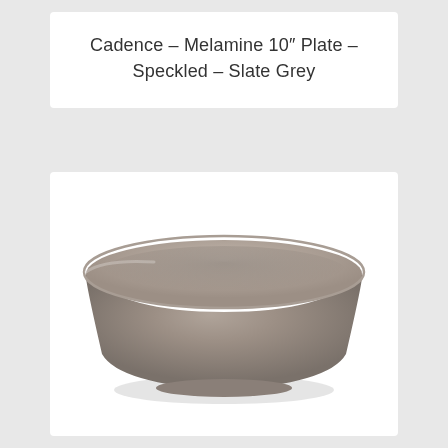Cadence – Melamine 10" Plate – Speckled – Slate Grey
[Figure (photo): A slate grey melamine bowl photographed from slightly above on a white background. The bowl has a wide rim tapering to a narrower base, with a smooth matte finish in a warm taupe-grey color.]